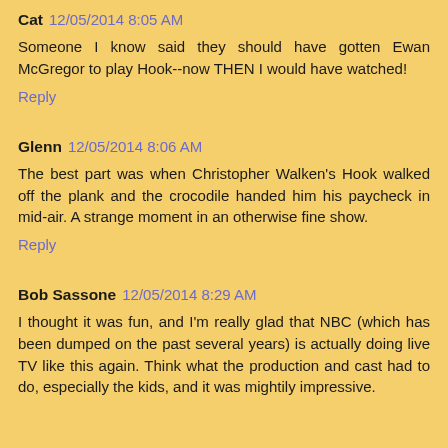Cat  12/05/2014 8:05 AM
Someone I know said they should have gotten Ewan McGregor to play Hook--now THEN I would have watched!
Reply
Glenn  12/05/2014 8:06 AM
The best part was when Christopher Walken's Hook walked off the plank and the crocodile handed him his paycheck in mid-air. A strange moment in an otherwise fine show.
Reply
Bob Sassone  12/05/2014 8:29 AM
I thought it was fun, and I'm really glad that NBC (which has been dumped on the past several years) is actually doing live TV like this again. Think what the production and cast had to do, especially the kids, and it was mightily impressive.